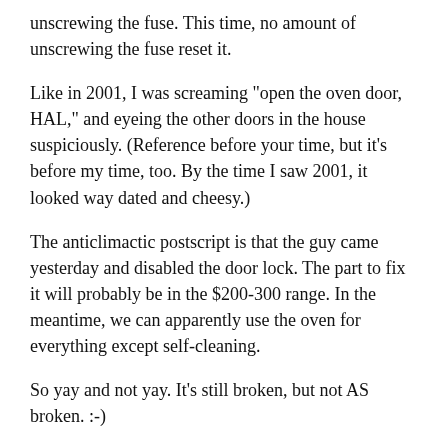unscrewing the fuse. This time, no amount of unscrewing the fuse reset it.
Like in 2001, I was screaming "open the oven door, HAL," and eyeing the other doors in the house suspiciously. (Reference before your time, but it's before my time, too. By the time I saw 2001, it looked way dated and cheesy.)
The anticlimactic postscript is that the guy came yesterday and disabled the door lock. The part to fix it will probably be in the $200-300 range. In the meantime, we can apparently use the oven for everything except self-cleaning.
So yay and not yay. It's still broken, but not AS broken. :-)
REPLY